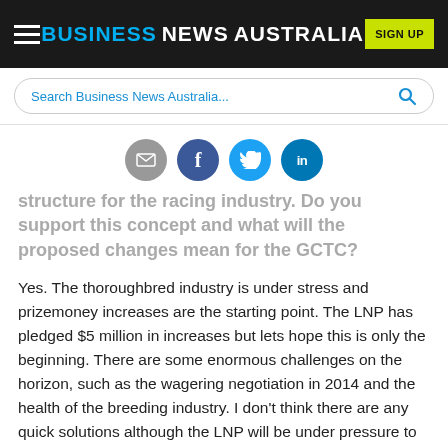BUSINESS NEWS AUSTRALIA
Search Business News Australia...
[Figure (infographic): Social sharing icons: email, Facebook, Twitter, LinkedIn]
structure for the racing industry. Do you support this concept and what will the proposed changes mean for the GCTC?
Yes. The thoroughbred industry is under stress and prizemoney increases are the starting point. The LNP has pledged $5 million in increases but lets hope this is only the beginning. There are some enormous challenges on the horizon, such as the wagering negotiation in 2014 and the health of the breeding industry. I don't think there are any quick solutions although the LNP will be under pressure to deliver changes quickly. How successful it is will be determined by not only the structure they put in place, but the quality of people they assign to manage the Queensland